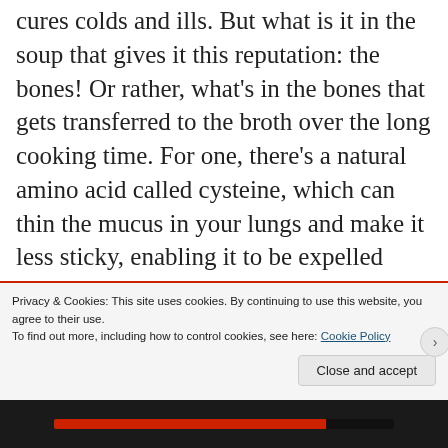cures colds and ills. But what is it in the soup that gives it this reputation: the bones! Or rather, what's in the bones that gets transferred to the broth over the long cooking time. For one, there's a natural amino acid called cysteine, which can thin the mucus in your lungs and make it less sticky, enabling it to be expelled more easily.
Then there are the minerals: calcium
Privacy & Cookies: This site uses cookies. By continuing to use this website, you agree to their use.
To find out more, including how to control cookies, see here: Cookie Policy